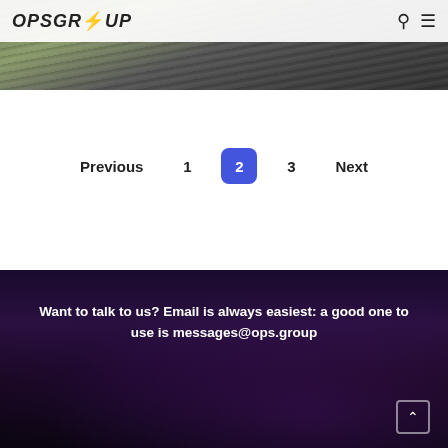[Figure (photo): Aerial photograph of an airport or airfield with runways, taxiways, and green fields visible from above, shown at top of page with OpsGroup logo overlay]
OpsGroup — Search and Menu icons
Previous  1  2  3  Next — pagination navigation
Want to talk to us? Email is always easiest: a good one to use is messages@ops.group